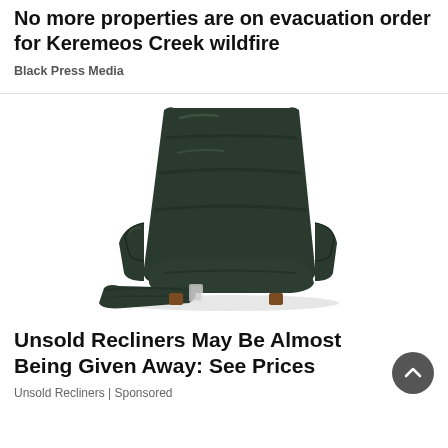No more properties are on evacuation order for Keremeos Creek wildfire
Black Press Media
[Figure (photo): Dark green/black leather recliner chair with footrest extended, shown against a white background]
Unsold Recliners May Be Almost Being Given Away: See Prices
Unsold Recliners | Sponsored